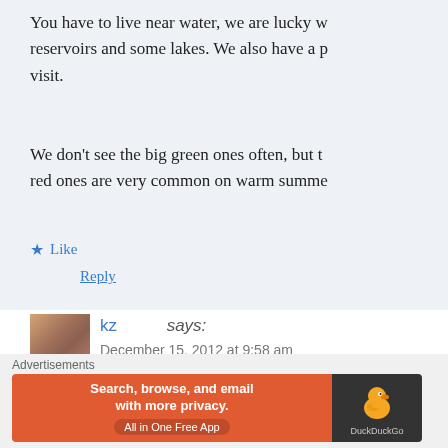You have to live near water, we are lucky w... reservoirs and some lakes. We also have a p... visit.
We don't see the big green ones often, but t... red ones are very common on warm summe...
★ Like
Reply
kz says:
December 15, 2012 at 9:58 am
i just miss them.. horrid kids back the... their wings. horrible 😐
Advertisements
[Figure (other): DuckDuckGo advertisement banner: orange section with text 'Search, browse, and email with more privacy. All in One Free App' and dark section with DuckDuckGo duck logo]